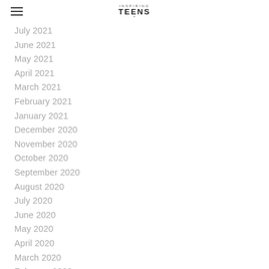Inspiring Teens
July 2021
June 2021
May 2021
April 2021
March 2021
February 2021
January 2021
December 2020
November 2020
October 2020
September 2020
August 2020
July 2020
June 2020
May 2020
April 2020
March 2020
February 2020